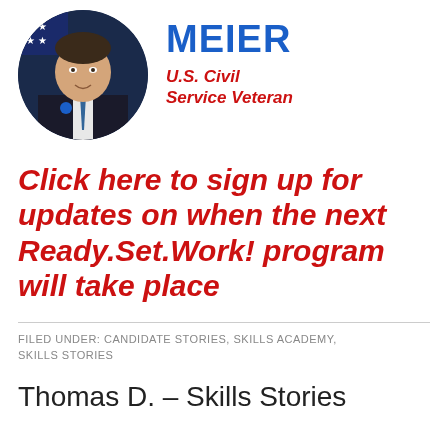[Figure (photo): Circular portrait photo of a man in a dark suit with tie, American flag in background]
MEIER
U.S. Civil Service Veteran
Click here to sign up for updates on when the next Ready.Set.Work! program will take place
FILED UNDER: CANDIDATE STORIES, SKILLS ACADEMY, SKILLS STORIES
Thomas D. – Skills Stories